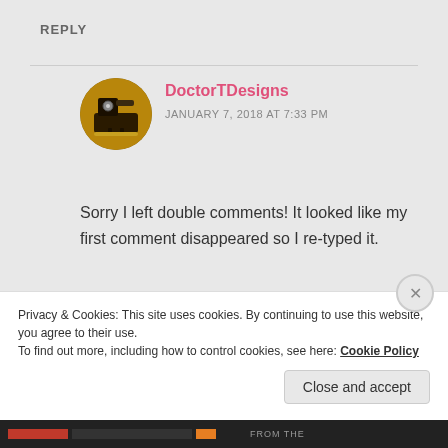REPLY
DoctorTDesigns
JANUARY 7, 2018 AT 7:33 PM
Sorry I left double comments! It looked like my first comment disappeared so I re-typed it.
Like
Privacy & Cookies: This site uses cookies. By continuing to use this website, you agree to their use.
To find out more, including how to control cookies, see here: Cookie Policy
Close and accept